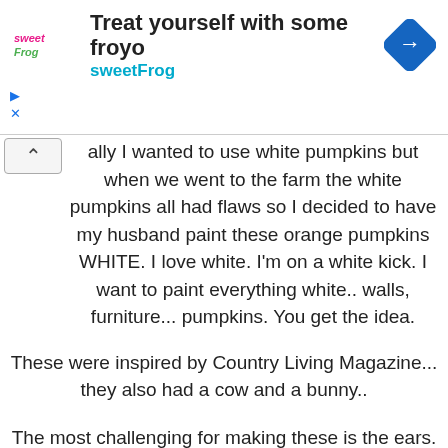[Figure (screenshot): Ad banner for sweetFrog frozen yogurt. Shows sweetFrog logo on left, text 'Treat yourself with some froyo' and 'sweetFrog' in cyan, navigation arrow icon on right. Below: play and close icons.]
ally I wanted to use white pumpkins but when we went to the farm the white pumpkins all had flaws so I decided to have my husband paint these orange pumpkins WHITE. I love white. I'm on a white kick. I want to paint everything white.. walls, furniture... pumpkins. You get the idea.
These were inspired by Country Living Magazine... they also had a cow and a bunny..
The most challenging for making these is the ears. I just winged making the ears freehand. I hate patterns. I did make a pattern for you guys since not everyone can just cut out a pattern.
Right click, save as.. to your pictures and print out.